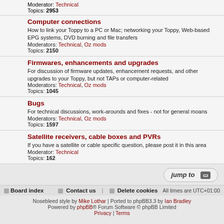Moderator: Technical
Topics: 2953
Computer connections
How to link your Toppy to a PC or Mac; networking your Toppy, Web-based EPG systems, DVD burning and file transfers
Moderators: Technical, Oz mods
Topics: 2150
Firmwares, enhancements and upgrades
For discussion of firmware updates, enhancement requests, and other upgrades to your Toppy, but not TAPs or computer-related
Moderators: Technical, Oz mods
Topics: 1045
Bugs
For technical discussions, work-arounds and fixes - not for general moans
Moderators: Technical, Oz mods
Topics: 1597
Satellite receivers, cable boxes and PVRs
If you have a satellite or cable specific question, please post it in this area
Moderator: Technical
Topics: 162
Board index | Contact us | Delete cookies  All times are UTC+01:00
Nosebleed style by Mike Lothar | Ported to phpBB3.3 by Ian Bradley
Powered by phpBB® Forum Software © phpBB Limited
Privacy | Terms